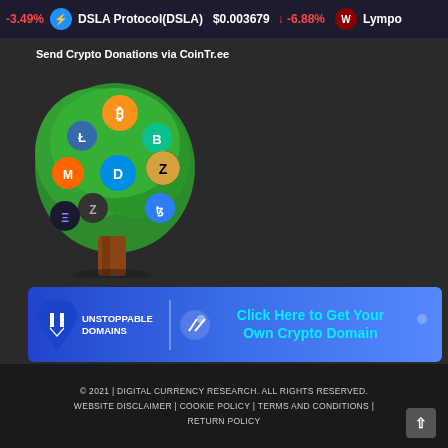-3.49%  DSLA Protocol(DSLA)  $0.003679  -6.88%  Lympo
Send Crypto Donations via CoinTr.ee
[Figure (illustration): CoinTree illustration: a green tree with various cryptocurrency coin logos (Bitcoin, Litecoin, Bitcoin Cash, Monero, Dash, Zcash, Ethereum, Tezos) embedded in the foliage, with a brown trunk]
[Figure (infographic): Unstoppable Domains banner advertisement: blue gradient background, white U logo on left, UNSTOPPABLE DOMAINS text, cyan text reading Click Here to Get Your Own Crypto Domain]
© 2021 | DIGITAL CURRENCY RESEARCH. ALL RIGHTS RESERVED.
WEBSITE DISCLAIMER | COOKIE POLICY | TERMS AND CONDITIONS | RETURN POLICY